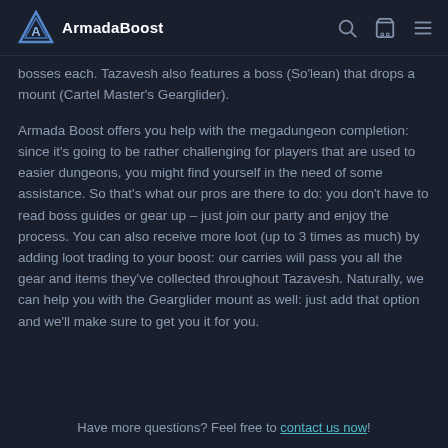ArmadaBoost
bosses each. Tazavesh also features a boss (So'lean) that drops a mount (Cartel Master's Gearglider).
Armada Boost offers you help with the megadungeon completion: since it's going to be rather challenging for players that are used to easier dungeons, you might find yourself in the need of some assistance. So that's what our pros are there to do: you don't have to read boss guides or gear up – just join our party and enjoy the process. You can also receive more loot (up to 3 times as much) by adding loot trading to your boost: our carries will pass you all the gear and items they've collected throughout Tazavesh. Naturally, we can help you with the Gearglider mount as well: just add that option and we'll make sure to get you it for you.
Have more questions? Feel free to contact us now!